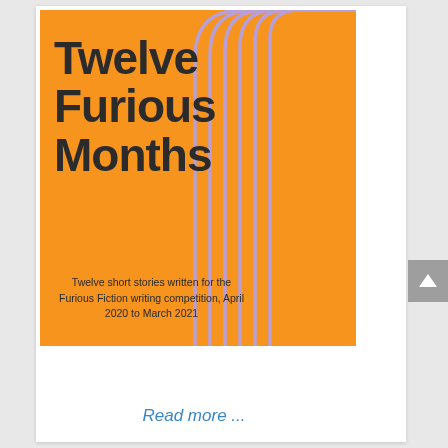[Figure (illustration): Book cover for 'Twelve Furious Months' — orange background with purple curved/arched lines on the right side, large dark bold title text on the left, small subtitle text at the bottom left reading 'Twelve short stories written for the Furious Fiction writing competition, April 2020 to March 2021']
Read more ...